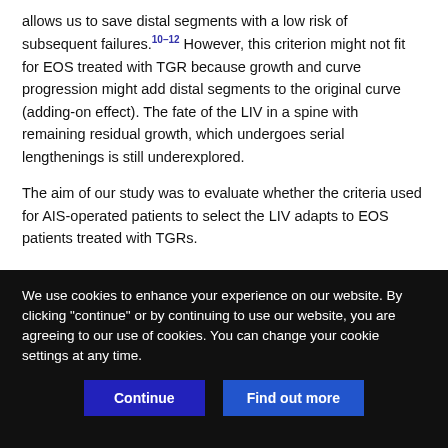allows us to save distal segments with a low risk of subsequent failures.10–12 However, this criterion might not fit for EOS treated with TGR because growth and curve progression might add distal segments to the original curve (adding-on effect). The fate of the LIV in a spine with remaining residual growth, which undergoes serial lengthenings is still underexplored.
The aim of our study was to evaluate whether the criteria used for AIS-operated patients to select the LIV adapts to EOS patients treated with TGRs.
MATERIALS AND METHODS
We use cookies to enhance your experience on our website. By clicking "continue" or by continuing to use our website, you are agreeing to our use of cookies. You can change your cookie settings at any time.